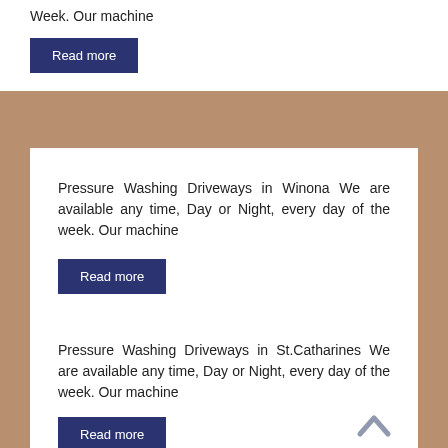Week. Our machine
Read more
Pressure Washing Driveways in Winona We are available any time, Day or Night, every day of the week. Our machine
Read more
Pressure Washing Driveways in St.Catharines We are available any time, Day or Night, every day of the week. Our machine
Read more